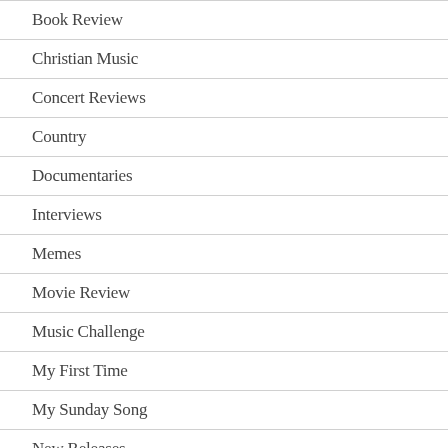Book Review
Christian Music
Concert Reviews
Country
Documentaries
Interviews
Memes
Movie Review
Music Challenge
My First Time
My Sunday Song
New Releases
News